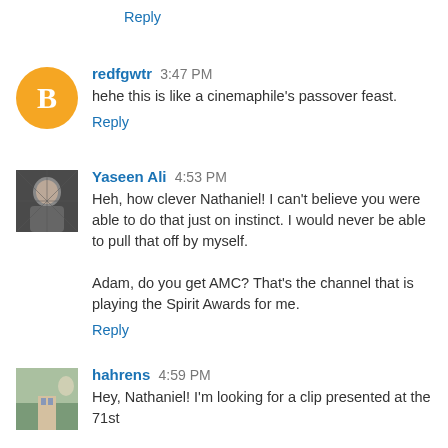Reply
redfgwtr 3:47 PM
hehe this is like a cinemaphile's passover feast.
Reply
Yaseen Ali 4:53 PM
Heh, how clever Nathaniel! I can't believe you were able to do that just on instinct. I would never be able to pull that off by myself.

Adam, do you get AMC? That's the channel that is playing the Spirit Awards for me.
Reply
hahrens 4:59 PM
Hey, Nathaniel! I'm looking for a clip presented at the 71st